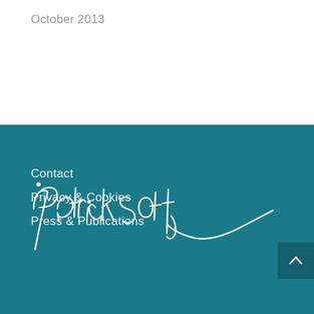October 2013
Contact
Privacy & Cookies
Press & Publications
[Figure (illustration): Handwritten signature in white ink reading 'Patrick Scott' or similar, on teal/dark cyan background]
[Figure (other): Back to top button with upward chevron arrow, dark teal square button in bottom right corner]